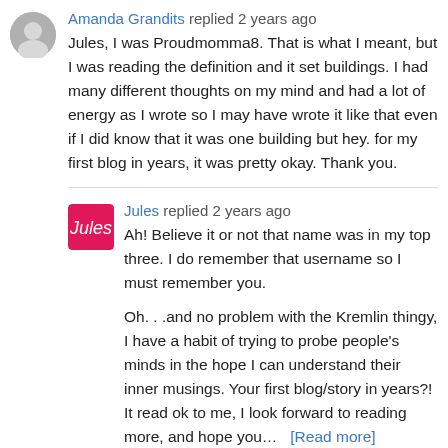Amanda Grandits replied 2 years ago
Jules, I was Proudmomma8. That is what I meant, but I was reading the definition and it set buildings. I had many different thoughts on my mind and had a lot of energy as I wrote so I may have wrote it like that even if I did know that it was one building but hey. for my first blog in years, it was pretty okay. Thank you.
Jules replied 2 years ago
Ah! Believe it or not that name was in my top three. I do remember that username so I must remember you.
Oh. . .and no problem with the Kremlin thingy, I have a habit of trying to probe people's minds in the hope I can understand their inner musings. Your first blog/story in years?! It read ok to me, I look forward to reading more, and hope you… [Read more]